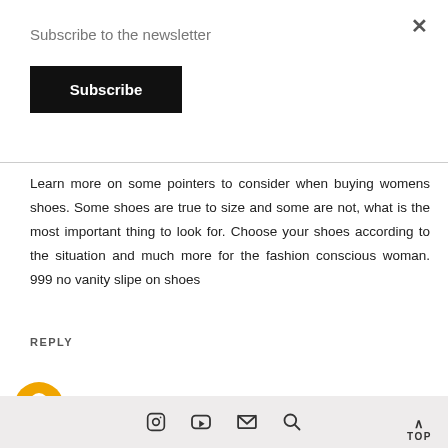Subscribe to the newsletter
Subscribe
Learn more on some pointers to consider when buying womens shoes. Some shoes are true to size and some are not, what is the most important thing to look for. Choose your shoes according to the situation and much more for the fashion conscious woman. 999 no vanity slipe on shoes
REPLY
SHAHZAIB August 16, 2020 at 5:55 AM
TOP